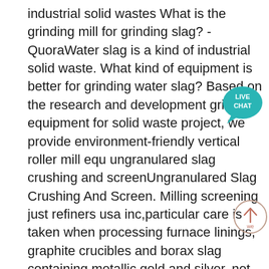industrial solid wastes What is the grinding mill for grinding slag? - QuoraWater slag is a kind of industrial solid waste. What kind of equipment is better for grinding water slag? Based on the research and development grinding equipment for solid waste project, we provide environment-friendly vertical roller mill equ ungranulared slag crushing and screenUngranulared Slag Crushing And Screen. Milling screening just refiners usa inc,particular care is taken when processing furnace linings, graphite crucibles and borax slag containing metallic gold and silver. not only do we homogenize the by-product materials by crushing to reduce the particle size to less than mm in size for sampling purposes, we proceed to feed the crushed materials through Steel Slag Crusher and Grinding Mill | Mining, Crushing 25-06-2022· Steel Slag Crusher and Grinding Mill. Steel Slag crusher and Steel Slag grinding mill are used to processing Steel Slag to small size or slag powder, then the material can be use in deep processing industry. Slag properties vary
[Figure (other): Live chat button badge - teal/cyan circular chat bubble icon with 'LIVE CHAT' text in white]
[Figure (other): Scroll-to-top button - circular outlined button with an upward arrow icon and 'we' text below]